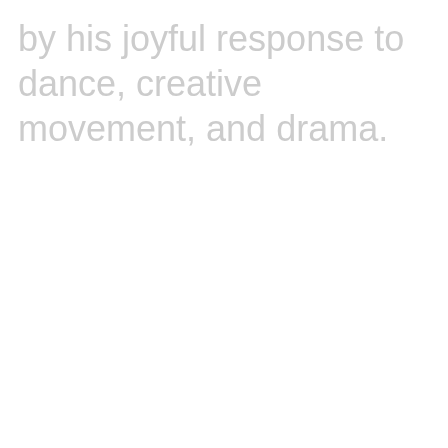by his joyful response to dance, creative movement, and drama.